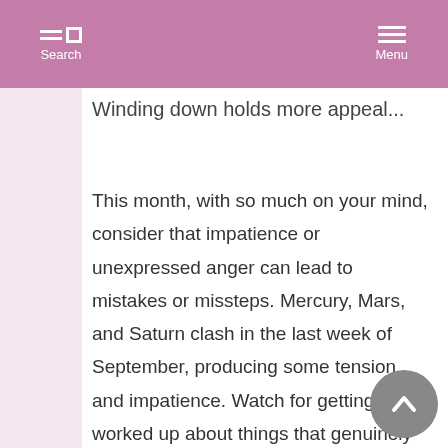Search   Menu
Winding down holds more appeal...
This month, with so much on your mind, consider that impatience or unexpressed anger can lead to mistakes or missteps. Mercury, Mars, and Saturn clash in the last week of September, producing some tension and impatience. Watch for getting too worked up about things that genuinely don't matter in the long run. You may be tempted to say or do something out of character. Challenges from the public or professional camp can spill over into other life departments. Resolving conflicts only